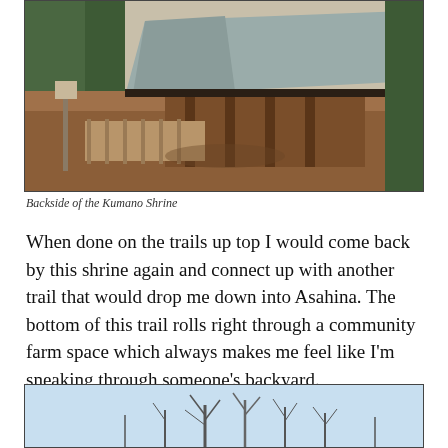[Figure (photo): Aerial/elevated view of the backside of Kumano Shrine, showing a wooden structure with a grey/green metal roof, reddish dirt ground, wooden fencing, and surrounding trees]
Backside of the Kumano Shrine
When done on the trails up top I would come back by this shrine again and connect up with another trail that would drop me down into Asahina. The bottom of this trail rolls right through a community farm space which always makes me feel like I'm sneaking through someone's backyard.
[Figure (photo): Partial view of a winter scene with bare trees against a light blue sky]